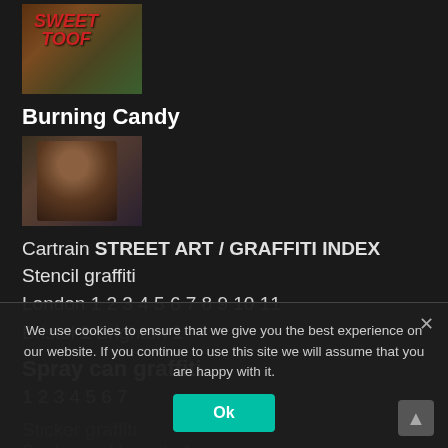[Figure (photo): Thumbnail image with 'SWEET TOOF' text in red on wooden/green background]
Burning Candy
[Figure (photo): Thumbnail image of a figure resembling Uncle Sam in dark reddish tones]
Cartrain STREET ART / GRAFFITI INDEX Stencil graffiti London 1 2 3 4 5 6 7 8 9 10 11 Bristol 1 Brighton 1
Spray can graffiti 1 2 3 4 5 6 7
Sticker graffiti
Sculpture / Installs 1
Paste ups 1 2 3
Text graffiti 1 2
We use cookies to ensure that we give you the best experience on our website. If you continue to use this site we will assume that you are happy with it.
Ok